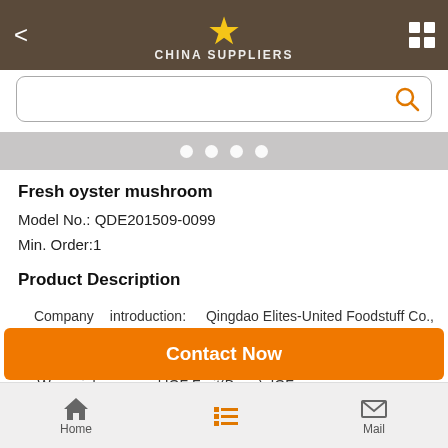CHINA SUPPLIERS
[Figure (screenshot): Search bar with orange search icon]
[Figure (other): Carousel dots indicator: four white dots on gray background]
Fresh oyster mushroom
Model No.: QDE201509-0099
Min. Order:1
Product Description
Company    introduction:    Qingdao Elites-United Foodstuff Co., Ltd is located Qindao City, China. We specialize in green agricultural products cultivation, processing and sales in China.      We mainly engaged IQF Fruit(Berry), IQF
Contact Now
Home | Mail